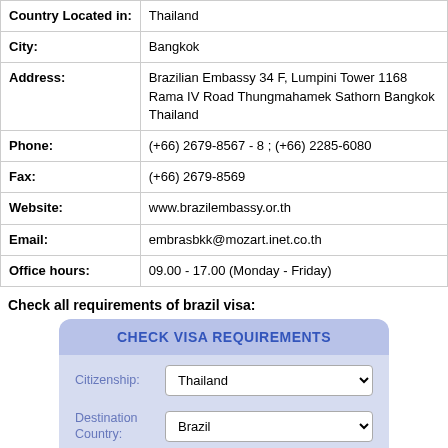| Country Located in: | Thailand |
| City: | Bangkok |
| Address: | Brazilian Embassy 34 F, Lumpini Tower 1168 Rama IV Road Thungmahamek Sathorn Bangkok Thailand |
| Phone: | (+66) 2679-8567 - 8 ; (+66) 2285-6080 |
| Fax: | (+66) 2679-8569 |
| Website: | www.brazilembassy.or.th |
| Email: | embrasbkk@mozart.inet.co.th |
| Office hours: | 09.00 - 17.00 (Monday - Friday) |
Check all requirements of brazil visa:
[Figure (screenshot): Visa requirements checker widget with blue/lavender background. Header reads CHECK VISA REQUIREMENTS. Fields for Citizenship (dropdown: Thailand) and Destination Country (dropdown: Brazil). Button: Check Requirements.]